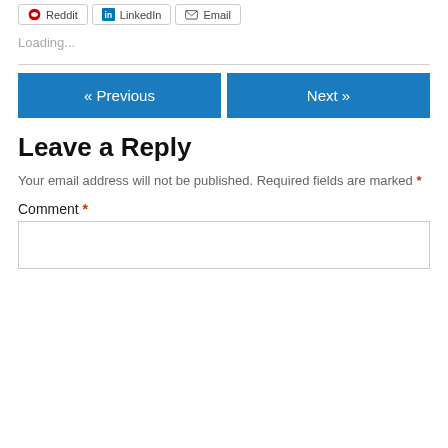[Figure (other): Social share buttons: Reddit, LinkedIn, Email]
Loading...
« Previous   Next »
Leave a Reply
Your email address will not be published. Required fields are marked *
Comment *